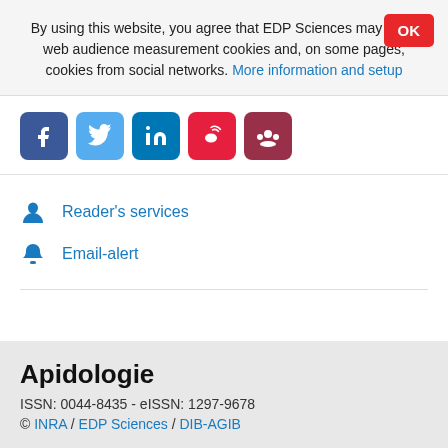By using this website, you agree that EDP Sciences may store web audience measurement cookies and, on some pages, cookies from social networks. More information and setup
[Figure (infographic): Row of 5 social media share buttons: Facebook (blue), Twitter (light blue), LinkedIn (blue), Weibo (red), Mendeley (dark red)]
Reader's services
Email-alert
Apidologie
ISSN: 0044-8435 - eISSN: 1297-9678
© INRA / EDP Sciences / DIB-AGIB